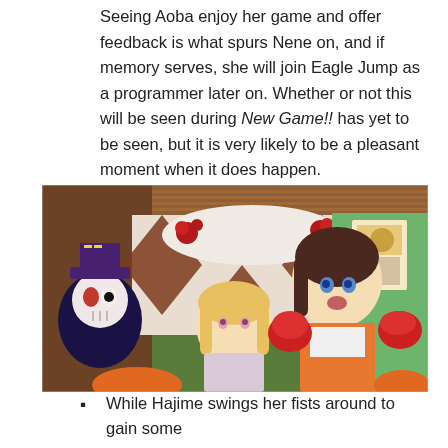Seeing Aoba enjoy her game and offer feedback is what spurs Nene on, and if memory serves, she will join Eagle Jump as a programmer later on. Whether or not this will be seen during New Game!! has yet to be seen, but it is very likely to be a pleasant moment when it does happen.
[Figure (illustration): Anime screenshot showing two female anime characters in a decorated room. One character has blonde twintails and wears a diamond-patterned outfit. The other has short dark hair and is wearing an orange jacket and red boxing gloves, appearing mid-action. In the background there is a skull character with a top hat, red roses, brown and white diamond-patterned curtains, and game posters on a green wall.]
While Hajime swings her fists around to gain some